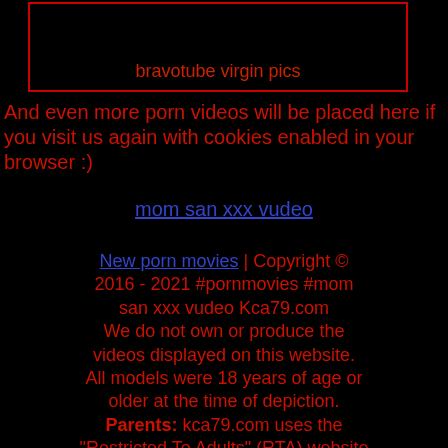[Figure (other): A bordered box with red border outline containing red text 'bravotube virgin pics' on black background]
And even more porn videos will be placed here if you visit us again with cookies enabled in your browser :)
mom san xxx vudeo
New porn movies | Copyright © 2016 - 2021 #pornmovies #mom san xxx vudeo Kca79.com We do not own or produce the videos displayed on this website. All models were 18 years of age or older at the time of depiction. Parents: kca79.com uses the "Restricted To Adults" (RTA) website label to better enable parental filtering. Protect your children from adult content and block access to this site by using parental controls.